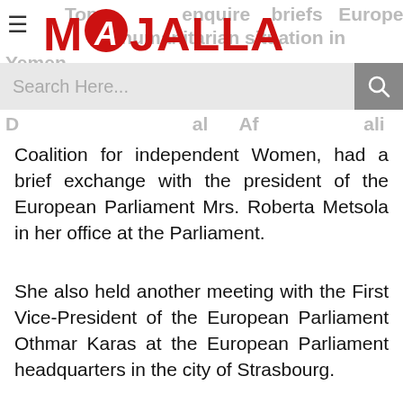MAJALLA — Top enquire briefs European humanitarian situation in Yemen
Coalition for independent Women, had a brief exchange with the president of the European Parliament Mrs. Roberta Metsola in her office at the Parliament.
She also held another meeting with the First Vice-President of the European Parliament Othmar Karas at the European Parliament headquarters in the city of Strasbourg.
During the brief exchange with Mrs. Metsola, Dr. Basindawa was accompanied by member of the European Parliament Fulvio Martusciello, who is also a member of the LiBE committee and the committee of the EU Relations with the Arab Peninsula. Dr. Manel Msalmi, Advisor to the